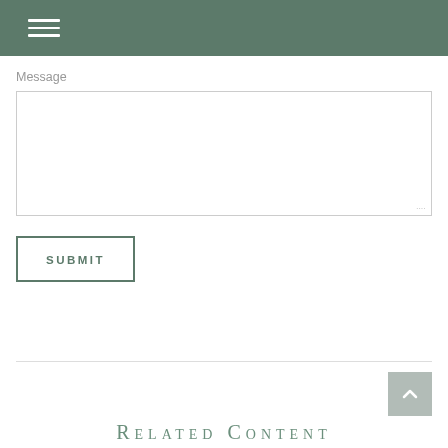Message
[Figure (screenshot): Message textarea input box with resize handle at bottom right]
[Figure (screenshot): SUBMIT button with green border and green uppercase bold text]
[Figure (screenshot): Back to top arrow button, grey square with upward chevron]
Related Content